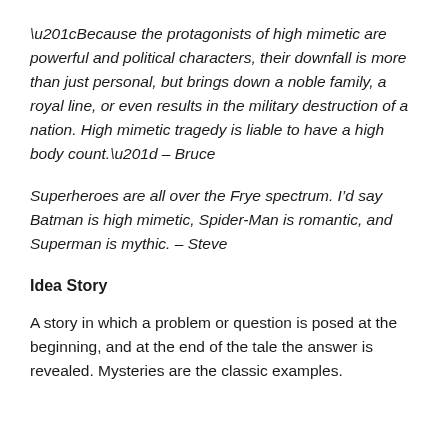“Because the protagonists of high mimetic are powerful and political characters, their downfall is more than just personal, but brings down a noble family, a royal line, or even results in the military destruction of a nation. High mimetic tragedy is liable to have a high body count.” – Bruce
Superheroes are all over the Frye spectrum. I’d say Batman is high mimetic, Spider-Man is romantic, and Superman is mythic. – Steve
Idea Story
A story in which a problem or question is posed at the beginning, and at the end of the tale the answer is revealed. Mysteries are the classic examples.